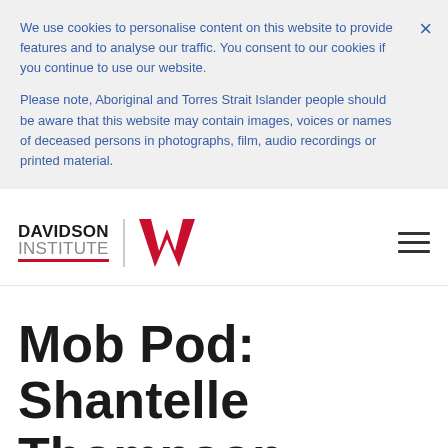We use cookies to personalise content on this website to provide features and to analyse our traffic. You consent to our cookies if you continue to use our website.
Please note, Aboriginal and Torres Strait Islander people should be aware that this website may contain images, voices or names of deceased persons in photographs, film, audio recordings or printed material.
[Figure (logo): Davidson Institute | Westpac logo with red W symbol and hamburger menu icon]
Mob Pod: Shantelle Thompson - Kiilalaana Foundation